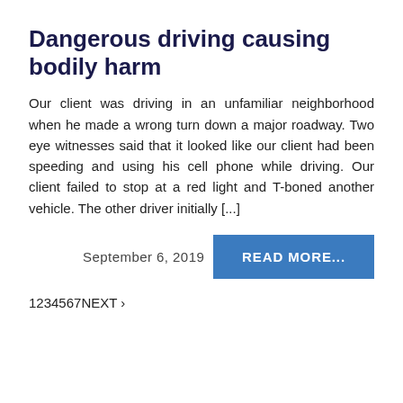Dangerous driving causing bodily harm
Our client was driving in an unfamiliar neighborhood when he made a wrong turn down a major roadway. Two eye witnesses said that it looked like our client had been speeding and using his cell phone while driving. Our client failed to stop at a red light and T-boned another vehicle. The other driver initially [...]
September 6, 2019
READ MORE...
1234567NEXT >